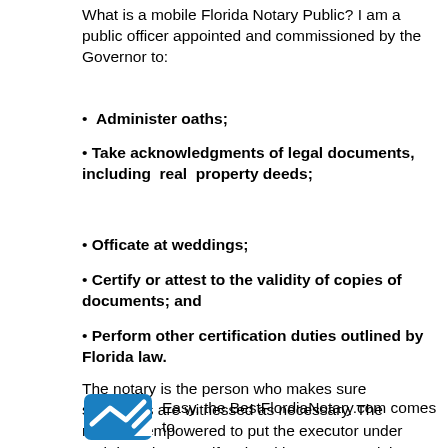What is a mobile Florida Notary Public? I am a public officer appointed and commissioned by the Governor to:
Administer oaths;
Take acknowledgments of legal documents, including real property deeds;
Officate at weddings;
Certify or attest to the validity of copies of documents; and
Perform other certification duties outlined by Florida law.
The notary is the person who makes sure signatures are witnessed as necessary. The notary is empowered to put the executor under oath in order to verify a legal instrument's claims and statements. Thus, a notary's seal assures the public that the person who signed the document was properly identified, and that the document carries the force of the law.
Easy, the BestFlordiaNotary.com comes to